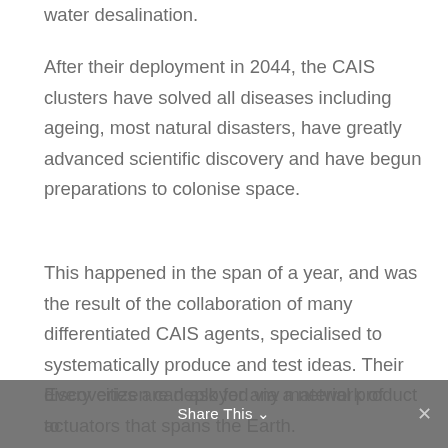water desalination.
After their deployment in 2044, the CAIS clusters have solved all diseases including ageing, most natural disasters, have greatly advanced scientific discovery and have begun preparations to colonise space.
This happened in the span of a year, and was the result of the collaboration of many differentiated CAIS agents, specialised to systematically produce and test ideas. Their discoveries are deployed via a network of actuators that spans the Earth.
Every citizen can ask for any material product to
Share This